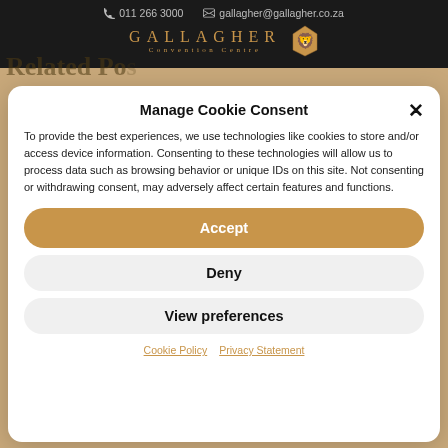011 266 3000  gallagher@gallagher.co.za
[Figure (logo): Gallagher Convention Centre logo with golden lion crest and stylized text]
Manage Cookie Consent
To provide the best experiences, we use technologies like cookies to store and/or access device information. Consenting to these technologies will allow us to process data such as browsing behavior or unique IDs on this site. Not consenting or withdrawing consent, may adversely affect certain features and functions.
Accept
Deny
View preferences
Cookie Policy  Privacy Statement